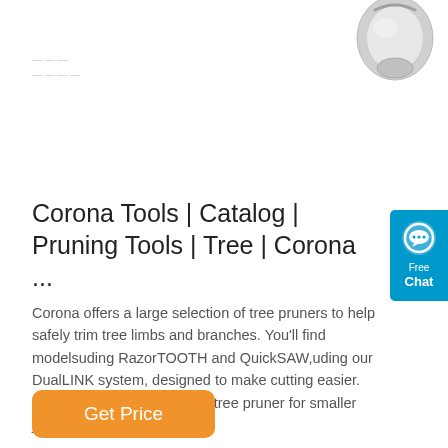[Figure (photo): Partial view of a metallic pruning tool component, appearing silver/chrome colored, visible at top right of page]
[Figure (infographic): Blue chat widget button with speech bubble icon, showing 'Free Chat' text]
Corona Tools | Catalog | Pruning Tools | Tree | Corona ...
Corona offers a large selection of tree pruners to help safely trim tree limbs and branches. You'll find modelsuding RazorTOOTH and QuickSAW,uding our DualLINK system, designed to make cutting easier. Whether you're in need of a tree pruner for smaller jobs or to extend your ...
[Figure (other): Orange 'Get Price' button]